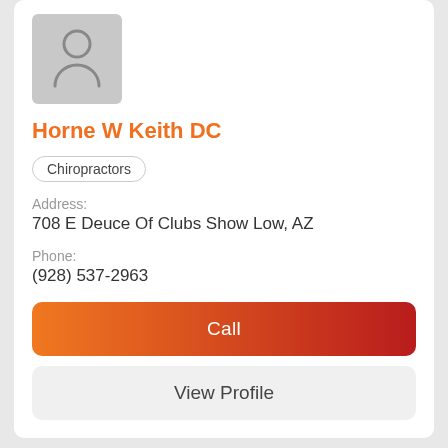[Figure (illustration): Gray placeholder avatar box with a person/user icon silhouette]
Horne W Keith DC
Chiropractors
Address:
708 E Deuce Of Clubs Show Low, AZ
Phone:
(928) 537-2963
Call
View Profile
See More Businesses